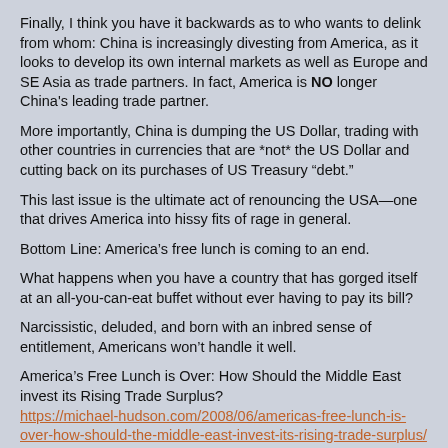Finally, I think you have it backwards as to who wants to delink from whom: China is increasingly divesting from America, as it looks to develop its own internal markets as well as Europe and SE Asia as trade partners. In fact, America is NO longer China's leading trade partner.
More importantly, China is dumping the US Dollar, trading with other countries in currencies that are *not* the US Dollar and cutting back on its purchases of US Treasury “debt.”
This last issue is the ultimate act of renouncing the USA—one that drives America into hissy fits of rage in general.
Bottom Line: America’s free lunch is coming to an end.
What happens when you have a country that has gorged itself at an all-you-can-eat buffet without ever having to pay its bill?
Narcissistic, deluded, and born with an inbred sense of entitlement, Americans won’t handle it well.
America’s Free Lunch is Over: How Should the Middle East invest its Rising Trade Surplus?
https://michael-hudson.com/2008/06/americas-free-lunch-is-over-how-should-the-middle-east-invest-its-rising-trade-surplus/